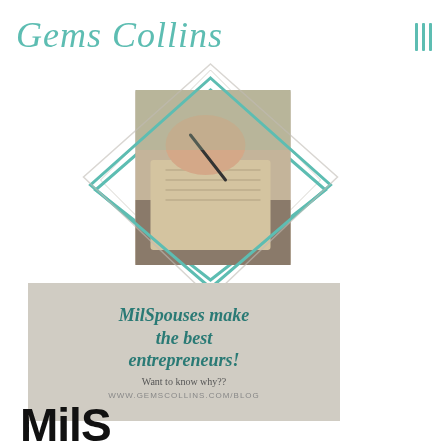Gems Collins
[Figure (illustration): Diamond-framed photo of a hand writing with a pen on a notebook, with teal diamond outline decorative frame]
[Figure (infographic): Blog card with grey background reading 'MilSpouses make the best entrepreneurs! Want to know why??' and URL www.gemscollins.com/blog]
MilS